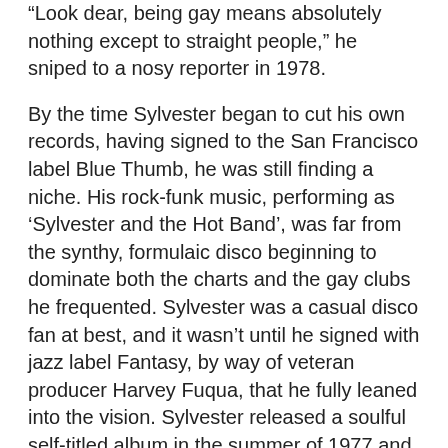“Look dear, being gay means absolutely nothing except to straight people,” he sniped to a nosy reporter in 1978.
By the time Sylvester began to cut his own records, having signed to the San Francisco label Blue Thumb, he was still finding a niche. His rock-funk music, performing as ‘Sylvester and the Hot Band’, was far from the synthy, formulaic disco beginning to dominate both the charts and the gay clubs he frequented. Sylvester was a casual disco fan at best, and it wasn’t until he signed with jazz label Fantasy, by way of veteran producer Harvey Fuqua, that he fully leaned into the vision. Sylvester released a soulful self-titled album in the summer of 1977 and followed it up the next year with the glittering ‘Step II’, which remains his most precise and dazzling album.
The album’s opening one-two punch, ‘You Make Me Feel (Mighty Real)’ and ‘Dance (Disco Heat)’, both flaunt Sylvester’s musical genius, but the former is his his crown jewel. Working with a band led by guitarist James ‘Tip’ Wirrick, the singer intended it as a